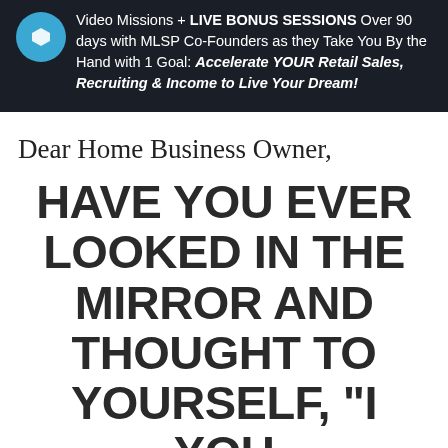Video Missions + LIVE BONUS SESSIONS Over 90 days with MLSP Co-Founders as they Take You By the Hand with 1 Goal: Accelerate YOUR Retail Sales, Recruiting & Income to Live Your Dream!
Dear Home Business Owner,
HAVE YOU EVER LOOKED IN THE MIRROR AND THOUGHT TO YOURSELF, "I YOU